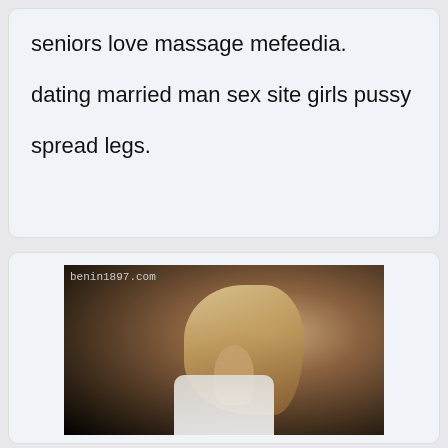seniors love massage mefeedia.

dating married man sex site girls pussy

spread legs.
[Figure (photo): Dark background portrait photo of a young blonde woman in a white tank top, with watermark text 'benin1897.com' in the upper left corner.]